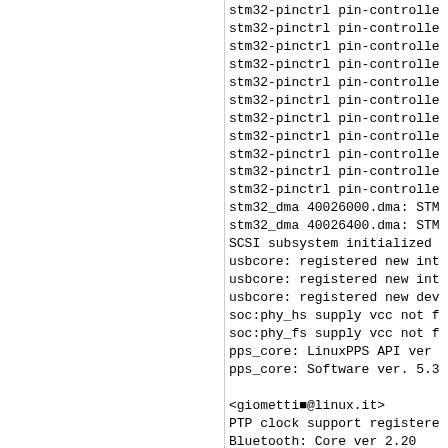stm32-pinctrl pin-controlle
stm32-pinctrl pin-controlle
stm32-pinctrl pin-controlle
stm32-pinctrl pin-controlle
stm32-pinctrl pin-controlle
stm32-pinctrl pin-controlle
stm32-pinctrl pin-controlle
stm32-pinctrl pin-controlle
stm32-pinctrl pin-controlle
stm32-pinctrl pin-controlle
stm32-pinctrl pin-controlle
stm32_dma 40026000.dma: STM
stm32_dma 40026400.dma: STM
SCSI subsystem initialized
usbcore: registered new int
usbcore: registered new int
usbcore: registered new dev
soc:phy_hs supply vcc not f
soc:phy_fs supply vcc not f
pps_core: LinuxPPS API ver
pps_core: Software ver. 5.3

<giometti■@linux.it>
PTP clock support registere
Bluetooth: Core ver 2.20
NET: Registered protocol fa
Bluetooth: HCI device and c
Bluetooth: HCI socket layer
Bluetooth: L2CAP socket la